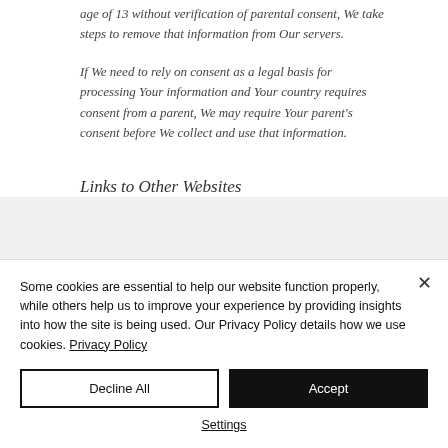age of 13 without verification of parental consent, We take steps to remove that information from Our servers.
If We need to rely on consent as a legal basis for processing Your information and Your country requires consent from a parent, We may require Your parent's consent before We collect and use that information.
Links to Other Websites
Some cookies are essential to help our website function properly, while others help us to improve your experience by providing insights into how the site is being used. Our Privacy Policy details how we use cookies. Privacy Policy
Decline All | Accept
Settings